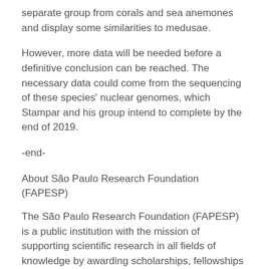separate group from corals and sea anemones and display some similarities to medusae.
However, more data will be needed before a definitive conclusion can be reached. The necessary data could come from the sequencing of these species' nuclear genomes, which Stampar and his group intend to complete by the end of 2019.
-end-
About São Paulo Research Foundation (FAPESP)
The São Paulo Research Foundation (FAPESP) is a public institution with the mission of supporting scientific research in all fields of knowledge by awarding scholarships, fellowships and grants to investigators linked with higher education and research institutions in the State of São Paulo, Brazil. FAPESP is aware that the very best research can only be done by working with the best